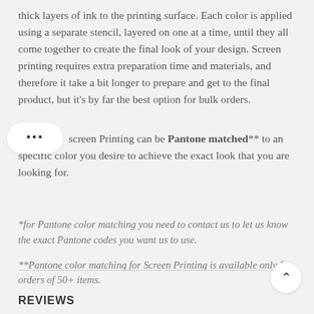thick layers of ink to the printing surface. Each color is applied using a separate stencil, layered on one at a time, until they all come together to create the final look of your design. Screen printing requires extra preparation time and materials, and therefore it take a bit longer to prepare and get to the final product, but it's by far the best option for bulk orders.
Our Screen Printing can be Pantone matched** to an specific color you desire to achieve the exact look that you are looking for.
*for Pantone color matching you need to contact us to let us know the exact Pantone codes you want us to use.
**Pantone color matching for Screen Printing is available only for orders of 50+ items.
REVIEWS